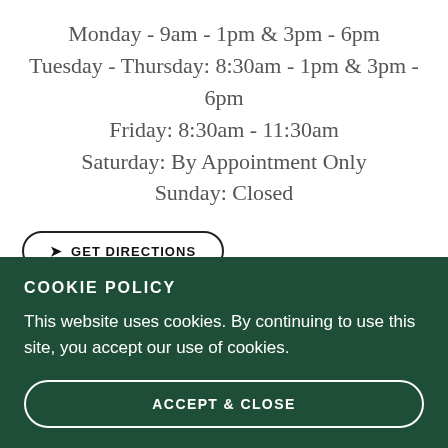Monday - 9am - 1pm & 3pm - 6pm
Tuesday - Thursday: 8:30am - 1pm & 3pm - 6pm
Friday: 8:30am - 11:30am
Saturday: By Appointment Only
Sunday: Closed
GET DIRECTIONS
COOKIE POLICY
This website uses cookies. By continuing to use this site, you accept our use of cookies.
ACCEPT & CLOSE